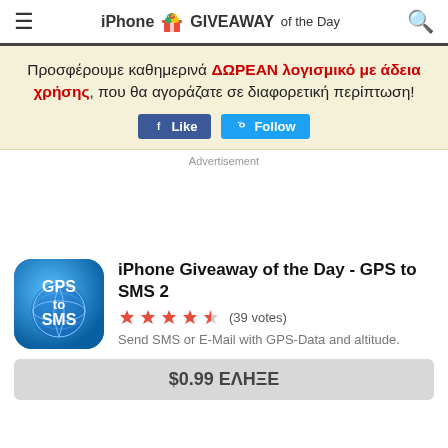iPhone GIVEAWAY of the Day
Προσφέρουμε καθημερινά ΔΩΡΕΑΝ λογισμικό με άδεια χρήσης, που θα αγοράζατε σε διαφορετική περίπτωση!
Advertisement
[Figure (screenshot): App icon for GPS to SMS 2 — blue rounded square with white text GPS to SMS over a globe graphic]
iPhone Giveaway of the Day - GPS to SMS 2
★★★★☆ (39 votes)
Send SMS or E-Mail with GPS-Data and altitude.
$0.99 ΕΛΗΞΕ